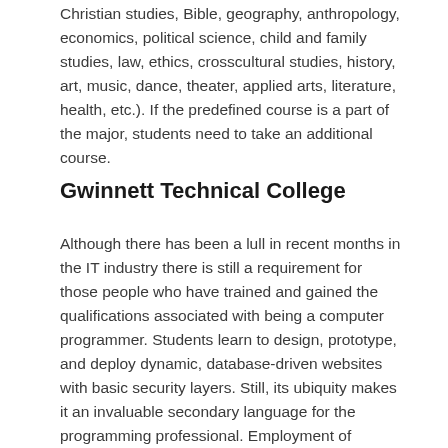Christian studies, Bible, geography, anthropology, economics, political science, child and family studies, law, ethics, crosscultural studies, history, art, music, dance, theater, applied arts, literature, health, etc.). If the predefined course is a part of the major, students need to take an additional course.
Gwinnett Technical College
Although there has been a lull in recent months in the IT industry there is still a requirement for those people who have trained and gained the qualifications associated with being a computer programmer. Students learn to design, prototype, and deploy dynamic, database-driven websites with basic security layers. Still, its ubiquity makes it an invaluable secondary language for the programming professional. Employment of computer programmers is projected to decline 7 percent from 2016 to 2026.